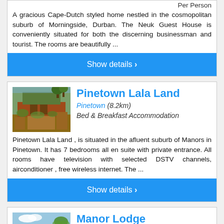Per Person
A gracious Cape-Dutch styled home nestled in the cosmopolitan suburb of Morningside, Durban. The Neuk Guest House is conveniently situated for both the discerning businessman and tourist. The rooms are beautifully ...
Show details ›
[Figure (photo): Exterior photo of Pinetown Lala Land showing garden and building]
Pinetown Lala Land
Pinetown (8.2km)
Bed & Breakfast Accommodation
Pinetown Lala Land , is situated in the afluent suburb of Manors in Pinetown. It has 7 bedrooms all en suite with private entrance. All rooms have television with selected DSTV channels, airconditioner , free wireless internet. The ...
Show details ›
[Figure (photo): Exterior photo of Manor Lodge showing building and palm tree]
Manor Lodge
Pinetown (8.9km)